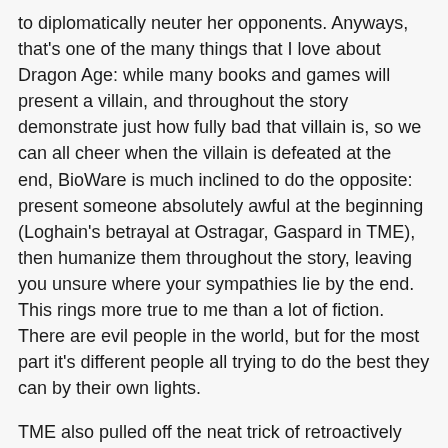to diplomatically neuter her opponents. Anyways, that's one of the many things that I love about Dragon Age: while many books and games will present a villain, and throughout the story demonstrate just how fully bad that villain is, so we can all cheer when the villain is defeated at the end, BioWare is much inclined to do the opposite: present someone absolutely awful at the beginning (Loghain's betrayal at Ostragar, Gaspard in TME), then humanize them throughout the story, leaving you unsure where your sympathies lie by the end. This rings more true to me than a lot of fiction. There are evil people in the world, but for the most part it's different people all trying to do the best they can by their own lights.
TME also pulled off the neat trick of retroactively endearing me to a character. Much like The Stolen Throne made us all fans of Loghain, The Masked Empire does a lot to redeem Duke Prosper, the villain of Mask of the Assassin. In that game, I had been completely under the sway of Tallis / Felicia Day, cheerfully agreeing that we should rob the Duke and protect the identities of the Qunari spies embedded in Orlais. I was initially taken aback in TME when Celene